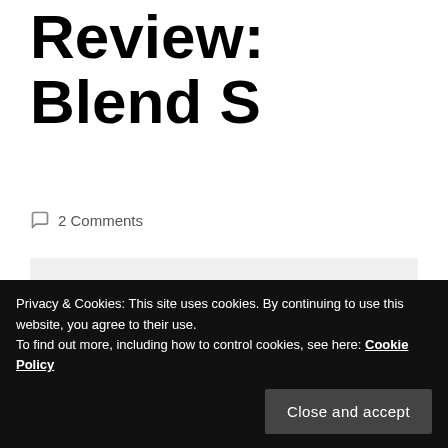Review: Blend S
2 Comments
Original Run: October 8, 2017 - December 24, 2017
Number of Episodes: 12
Genre: Comedy, Slice of Life
Based on the Series Created
Privacy & Cookies: This site uses cookies. By continuing to use this website, you agree to their use.
To find out more, including how to control cookies, see here: Cookie Policy